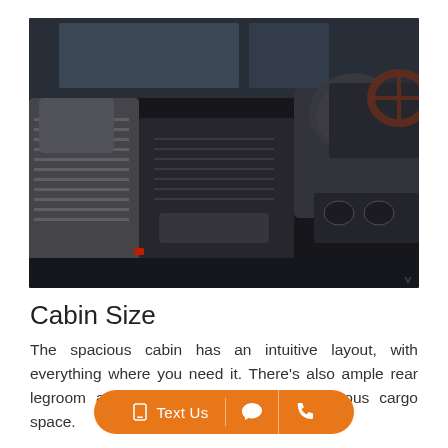[Figure (photo): Interior photo of a car cabin showing rear seats, headrests, center console area, and partial view of steering wheel. Black leather interior with gray and black seat accents, taken from a rear-facing angle.]
Cabin Size
The spacious cabin has an intuitive layout, with everything where you need it. There’s also ample rear legroom and headroom, as well as generous cargo space.